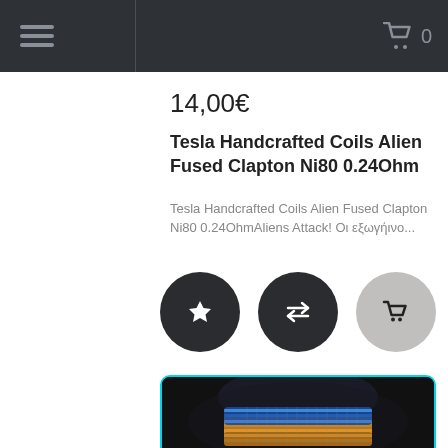Menu | 0
14,00€
Tesla Handcrafted Coils Alien Fused Clapton Ni80 0.24Ohm
Tesla Handcrafted Coils Alien Fused Clapton Ni80 0.24OhmAliens Attack! Οι εξωγήινο...
[Figure (illustration): Three circular action buttons: star/wishlist (dark), compare arrows (dark), shopping cart (light grey)]
[Figure (photo): Close-up photo of Tesla handcrafted coils with iridescent blue and golden coloring on dark background, with cyan border]